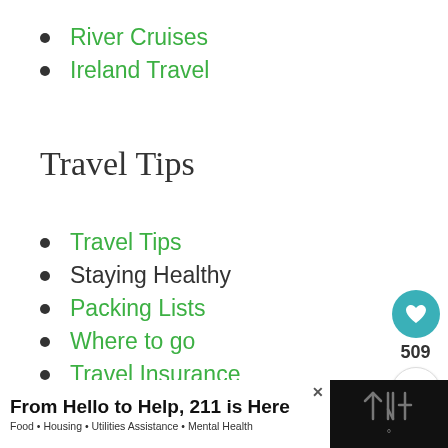River Cruises
Ireland Travel
Travel Tips
Travel Tips
Staying Healthy
Packing Lists
Where to go
Travel Insurance
Spiritual Travel
[Figure (infographic): Social sharing widget: heart icon button (teal), count 509, share icon button]
[Figure (infographic): What's Next card: thumbnail image of apples/produce, label 'WHAT'S NEXT →', text '11 Best Places for Apple...']
From Hello to Help, 211 is Here
Food • Housing • Utilities Assistance • Mental Health